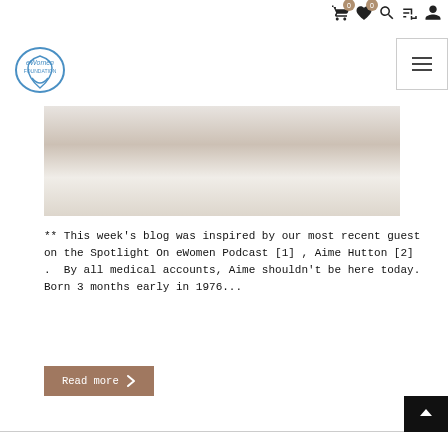eWomen Foundation website header with navigation icons (cart 0, wishlist 0, search, filter, account) and hamburger menu
[Figure (photo): Partial photo of a person lying in bed with white bedding, warm tones, cropped view]
** This week's blog was inspired by our most recent guest on the Spotlight On eWomen Podcast [1] , Aime Hutton [2] .  By all medical accounts, Aime shouldn't be here today. Born 3 months early in 1976...
Read more